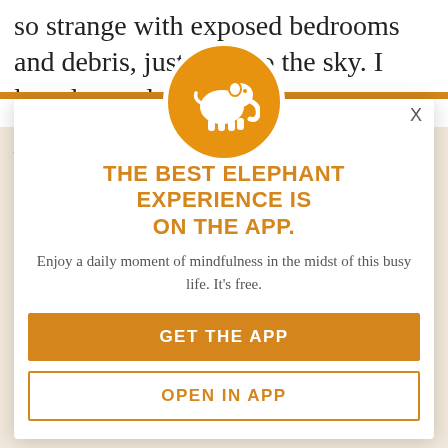so strange with exposed bedrooms and debris, just open to the sky. I later learned
that eight people lost their lives in that apartment. An array of amazing strangers bandaged me up, changed my shirt, and ran to my apartment. People were sharing stories of where they were when the tornado came through — she was in the shower. I don't think I said a word to anyone while they pulled the bigger pieces of glass from my skin, and took wet towels to wash the burn and blood.
[Figure (logo): White elephant silhouette on orange circle background — app icon]
X
THE BEST ELEPHANT EXPERIENCE IS ON THE APP.
Enjoy a daily moment of mindfulness in the midst of this busy life. It's free.
GET THE APP
OPEN IN APP